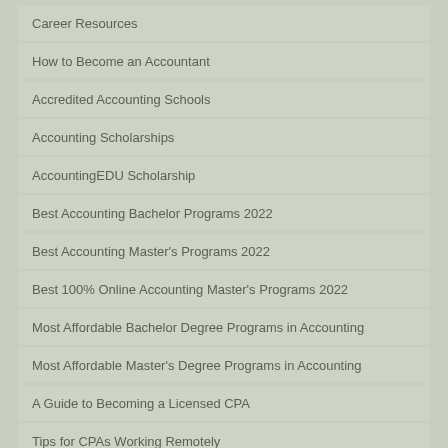Career Resources
How to Become an Accountant
Accredited Accounting Schools
Accounting Scholarships
AccountingEDU Scholarship
Best Accounting Bachelor Programs 2022
Best Accounting Master's Programs 2022
Best 100% Online Accounting Master's Programs 2022
Most Affordable Bachelor Degree Programs in Accounting
Most Affordable Master's Degree Programs in Accounting
A Guide to Becoming a Licensed CPA
Tips for CPAs Working Remotely
Everything You Need to Know about Getting Your Master's Degree
22 Best Tips and Tricks for Studying for the CPA Exam